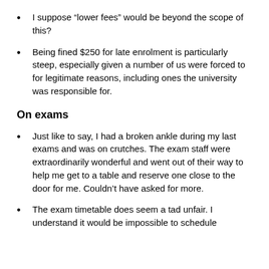I suppose “lower fees” would be beyond the scope of this?
Being fined $250 for late enrolment is particularly steep, especially given a number of us were forced to for legitimate reasons, including ones the university was responsible for.
On exams
Just like to say, I had a broken ankle during my last exams and was on crutches. The exam staff were extraordinarily wonderful and went out of their way to help me get to a table and reserve one close to the door for me. Couldn’t have asked for more.
The exam timetable does seem a tad unfair. I understand it would be impossible to schedule everyone without some clashes, but at some point...